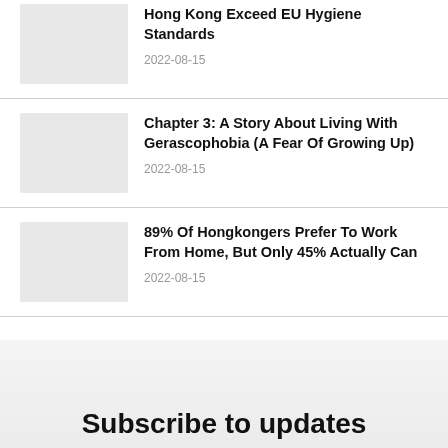Hong Kong Exceed EU Hygiene Standards
2022-08-15
Chapter 3: A Story About Living With Gerascophobia (A Fear Of Growing Up)
2022-08-15
89% Of Hongkongers Prefer To Work From Home, But Only 45% Actually Can
2022-08-15
Subscribe to updates